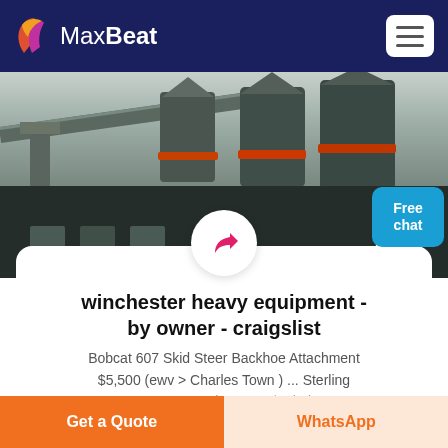MaxBeat
[Figure (photo): Industrial heavy equipment facility with cone-shaped crushers/grinders on structural framework, conveyors, and a large industrial building. A person in white with headset appears in the lower right corner. A blue 'Free chat' button is overlaid in the upper right.]
winchester heavy equipment - by owner - craigslist
Bobcat 607 Skid Steer Backhoe Attachment $5,500 (ewv > Charles Town ) ... Sterling A0500 Car Carrier Parts $0 (ude >
Get a Quote
WhatsApp